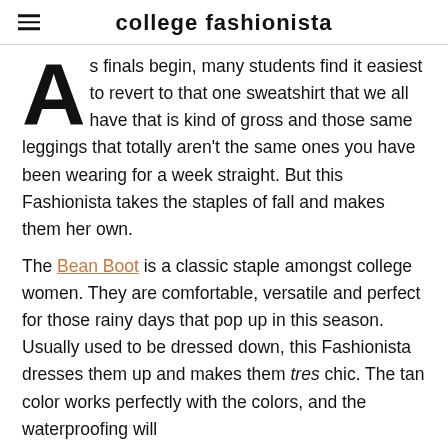college fashionista
As finals begin, many students find it easiest to revert to that one sweatshirt that we all have that is kind of gross and those same leggings that totally aren't the same ones you have been wearing for a week straight. But this Fashionista takes the staples of fall and makes them her own.
The Bean Boot is a classic staple amongst college women. They are comfortable, versatile and perfect for those rainy days that pop up in this season. Usually used to be dressed down, this Fashionista dresses them up and makes them tres chic. The tan color works perfectly with the colors, and the waterproofing will